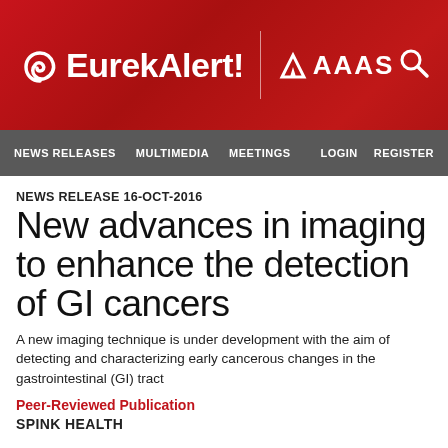[Figure (logo): EurekAlert! AAAS logo on red banner with search icon]
NEWS RELEASES   MULTIMEDIA   MEETINGS   LOGIN   REGISTER
NEWS RELEASE 16-OCT-2016
New advances in imaging to enhance the detection of GI cancers
A new imaging technique is under development with the aim of detecting and characterizing early cancerous changes in the gastrointestinal (GI) tract
Peer-Reviewed Publication
SPINK HEALTH